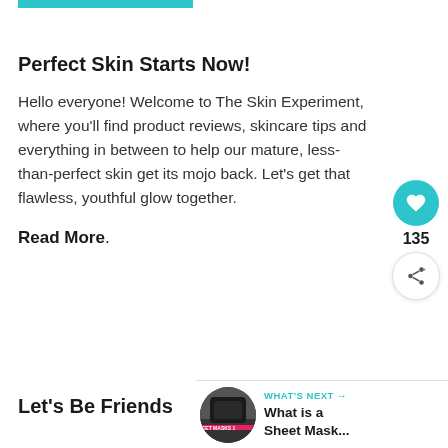[Figure (other): Teal/cyan decorative bar at top of page]
Perfect Skin Starts Now!
Hello everyone! Welcome to The Skin Experiment, where you'll find product reviews, skincare tips and everything in between to help our mature, less-than-perfect skin get its mojo back. Let's get that flawless, youthful glow together.
Read More.
[Figure (other): Social widget with heart/like button showing 135 and a share button]
Let's Be Friends
[Figure (other): What's Next panel showing a sheet mask thumbnail and text: WHAT'S NEXT → What is a Sheet Mask...]